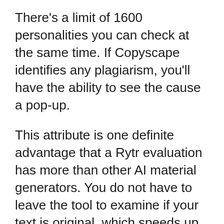There's a limit of 1600 personalities you can check at the same time. If Copyscape identifies any plagiarism, you'll have the ability to see the cause a pop-up.
This attribute is one definite advantage that a Rytr evaluation has more than other AI material generators. You do not have to leave the tool to examine if your text is original, which speeds up the writing procedure up considerably.
It is essential to remember that while there's no separate cost for plagiarism checks, the personalities refined matter versus your monthly use. There's additionally a limit of 50,000 characters you can look for plagiarism each month.